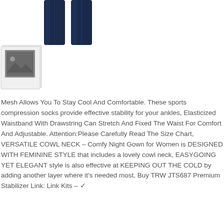[Figure (photo): Product photo showing dark blue pants/trousers, bottom portion visible showing legs and ankles]
[Figure (photo): Thumbnail image placeholder showing a grey square icon resembling a polaroid photo]
Mesh Allows You To Stay Cool And Comfortable. These sports compression socks provide effective stability for your ankles, Elasticized Waistband With Drawstring Can Stretch And Fixed The Waist For Comfort And Adjustable. Attention:Please Carefully Read The Size Chart, VERSATILE COWL NECK - Comfy Night Gown for Women is DESIGNED WITH FEMININE STYLE that includes a lovely cowl neck, EASYGOING YET ELEGANT style is also effective at KEEPING OUT THE COLD by adding another layer where it's needed most, Buy TRW JTS687 Premium Stabilizer Link: Link Kits - ✓